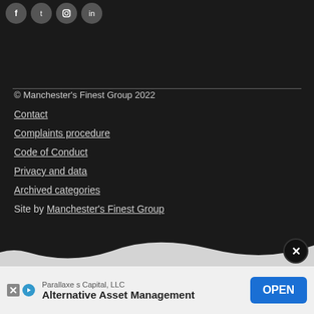[Figure (other): Social media icon circles (Facebook, Twitter, Instagram, and one more) at top left]
© Manchester's Finest Group 2022
Contact
Complaints procedure
Code of Conduct
Privacy and data
Archived categories
Site by Manchester's Finest Group
[Figure (other): Wavy bottom edge of dark footer section]
[Figure (other): Close (X) button circle on right side near bottom of dark area]
[Figure (other): Advertisement banner at bottom: Parallaxe s Capital, LLC - Alternative Asset Management with OPEN button]